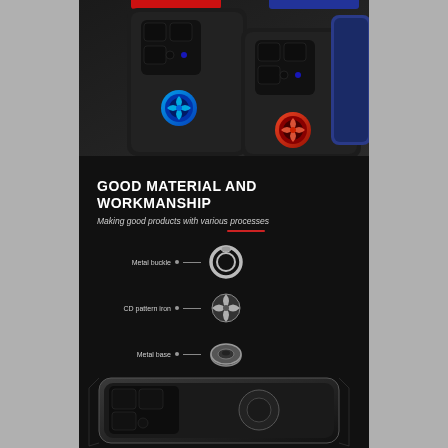[Figure (photo): Three smartphone cases with ring holders shown at an angle - one black with blue ring, one black with red ring, and a dark blue case visible. The cases appear to be for a high-end smartphone with a large camera module area.]
[Figure (infographic): Product infographic on dark background showing exploded view of phone case components: Metal buckle (ring), CD pattern iron (spinner), Metal base (circular base), TPU (phone case body). Title reads 'GOOD MATERIAL AND WORKMANSHIP' with subtitle 'Making good products with various processes' and a red underline accent.]